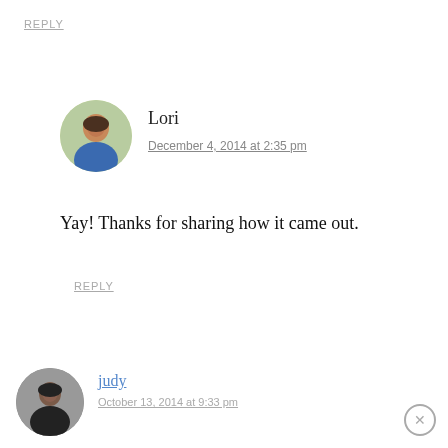REPLY
Lori
December 4, 2014 at 2:35 pm
Yay! Thanks for sharing how it came out.
REPLY
judy
October 13, 2014 at 9:33 pm